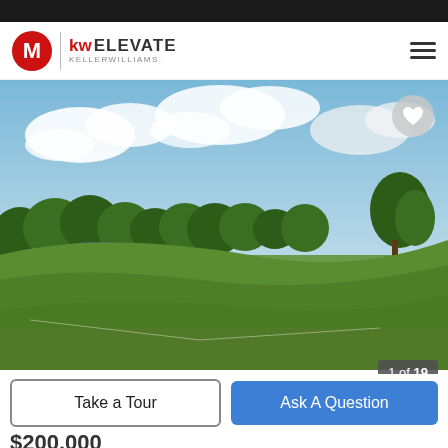[Figure (photo): KW Elevate Keller Williams real estate website screenshot showing a landscape photo of a green rolling field with a pond and trees under a partly cloudy sky. Navigation bar at top with logo and hamburger menu. Heart favorite button over photo. Image counter '1 of 19' in bottom right of photo. Two buttons: 'Take a Tour' and 'Ask A Question'. Partially visible price at bottom.]
1 of 19
Take a Tour
Ask A Question